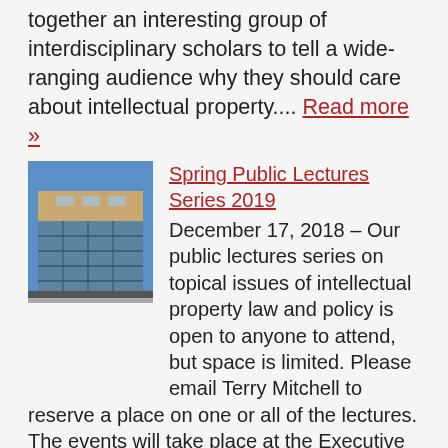together an interesting group of interdisciplinary scholars to tell a wide-ranging audience why they should care about intellectual property.... Read more »
[Figure (photo): Photo of modern multi-story building with glass facade (Executive Business Centre)]
Spring Public Lectures Series 2019
December 17, 2018 – Our public lectures series on topical issues of intellectual property law and policy is open to anyone to attend, but space is limited. Please email Terry Mitchell to reserve a place on one or all of the lectures. The events will take place at the Executive Business Centre, close to Bournemouth train station.
[Figure (photo): Photo with spiral/helix shape and mountain silhouette in background]
Professor Soetendorp at WIPO Academy seminar on IP and Education
July 9, 2018 – Tbilisi, Georgia was the
Our use of cookies